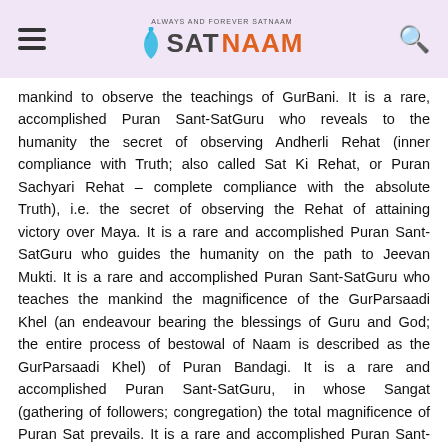ALWAYS AND FOREVER SATNAAM — SATNAAM (logo with hamburger menu and search icon)
mankind to observe the teachings of GurBani. It is a rare, accomplished Puran Sant-SatGuru who reveals to the humanity the secret of observing Andherli Rehat (inner compliance with Truth; also called Sat Ki Rehat, or Puran Sachyari Rehat – complete compliance with the absolute Truth), i.e. the secret of observing the Rehat of attaining victory over Maya. It is a rare and accomplished Puran Sant-SatGuru who guides the humanity on the path to Jeevan Mukti. It is a rare and accomplished Puran Sant-SatGuru who teaches the mankind the magnificence of the GurParsaadi Khel (an endeavour bearing the blessings of Guru and God; the entire process of bestowal of Naam is described as the GurParsaadi Khel) of Puran Bandagi. It is a rare and accomplished Puran Sant-SatGuru, in whose Sangat (gathering of followers; congregation) the total magnificence of Puran Sat prevails. It is a rare and accomplished Puran Sant-SatGuru, in whose Sangat the Suhaagans (the brides of God; those accepted as the